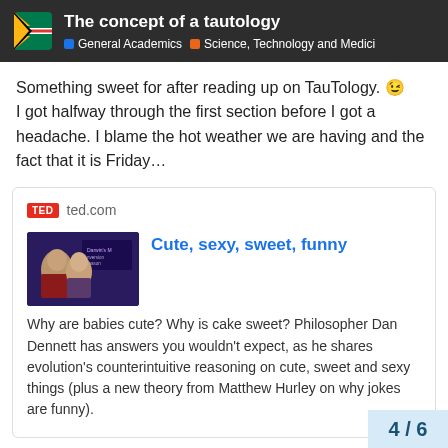The concept of a tautology | General Academics | Science, Technology and Medici
Something sweet for after reading up on TauTology. 😉 I got halfway through the first section before I got a headache. I blame the hot weather we are having and the fact that it is Friday…
[Figure (screenshot): TED talk link card from ted.com titled 'Cute, sexy, sweet, funny' with thumbnail image and description about Philosopher Dan Dennett explaining evolution's counterintuitive reasoning on cute, sweet and sexy things plus a new theory from Matthew Hurley on why jokes are funny.]
4 / 6